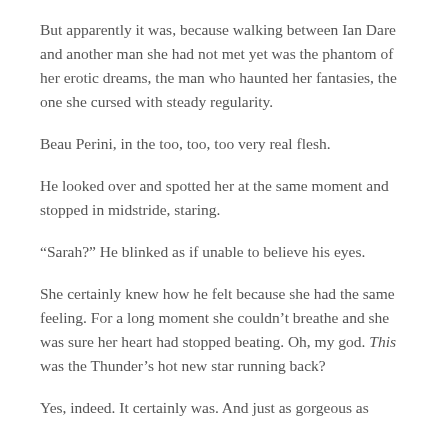But apparently it was, because walking between Ian Dare and another man she had not met yet was the phantom of her erotic dreams, the man who haunted her fantasies, the one she cursed with steady regularity.
Beau Perini, in the too, too, too very real flesh.
He looked over and spotted her at the same moment and stopped in midstride, staring.
“Sarah?” He blinked as if unable to believe his eyes.
She certainly knew how he felt because she had the same feeling. For a long moment she couldn’t breathe and she was sure her heart had stopped beating. Oh, my god. This was the Thunder’s hot new star running back?
Yes, indeed. It certainly was. And just as gorgeous as